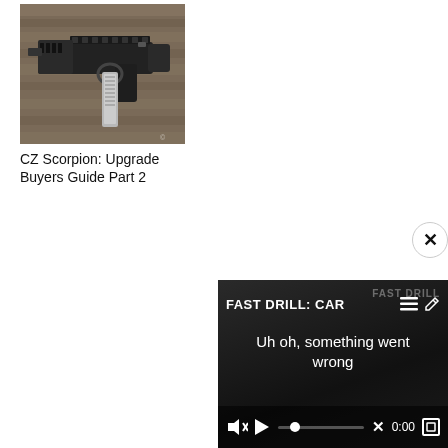[Figure (photo): Photo of a CZ Scorpion pistol/submachine gun with extended magazine, lying on a wooden surface. The firearm is black with rails and a pistol grip.]
CZ Scorpion: Upgrade Buyers Guide Part 2
[Figure (screenshot): Screenshot of a video player widget showing 'FAST DRILL: CAR' as the video title with a hamburger menu icon and edit/pencil icon. An error overlay reads 'Uh oh, something went wrong'. The controls bar shows a muted speaker icon, play button, progress bar with a dot, an X mark, time display '0:00', and a fullscreen icon. The video thumbnail shows a dimly lit scene.]